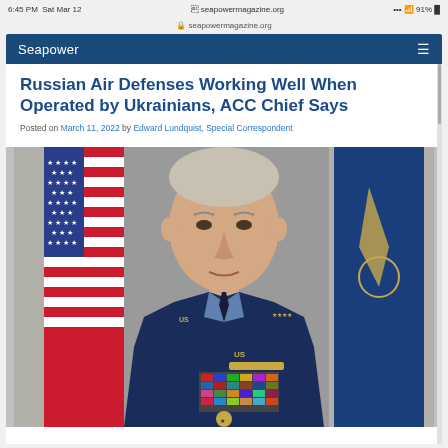6:45 PM  Sat Mar 12  seapowermagazine.org  91%
Seapower
Russian Air Defenses Working Well When Operated by Ukrainians, ACC Chief Says
Posted on March 11, 2022 by Edward Lundquist, Special Correspondent
[Figure (photo): Official military portrait of a US Air Force general in dress uniform with medals and ribbons, American flag and Air Force flag in background]